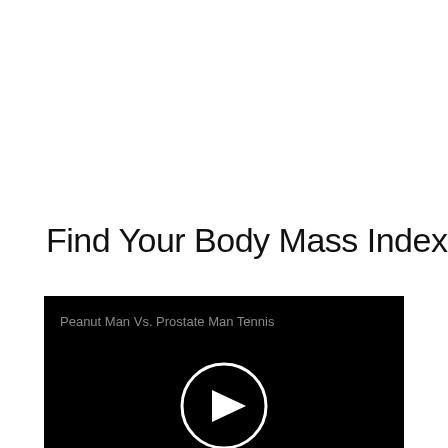Find Your Body Mass Index
[Figure (screenshot): Black video player thumbnail with a white circular play button in the center and the text 'Peanut Man Vs. Prostate Man Tennis' in gray at the top left.]